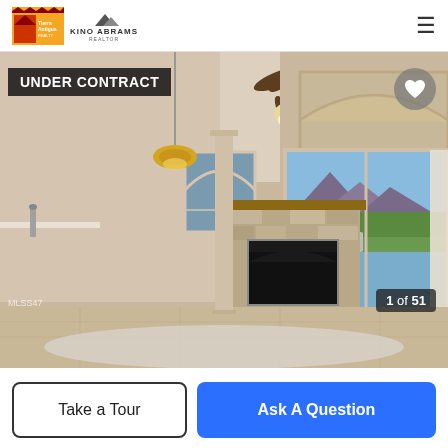[Figure (logo): Tierra Antigua Realty and Kino Abrams Realtor logos in header]
[Figure (photo): Interior living room photo showing ceiling fan, stone fireplace, large sliding glass door with mountain view, chandelier, kitchen area, and area rug. Labeled UNDER CONTRACT.]
UNDER CONTRACT
1 of 51
MLSS47
Take a Tour
Ask A Question